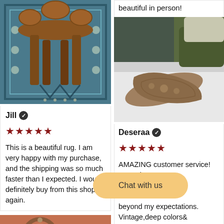[Figure (photo): Photo of a wooden dining table and chairs sitting on a blue patterned rug]
Jill ✓
★★★★★
This is a beautiful rug. I am very happy with my purchase, and the shipping was so much faster than I expected. I would definitely buy from this shop again.
[Figure (photo): Partial view of bottom of previous review page showing beautiful in person!]
[Figure (photo): Photo of a decorative patterned bolster pillow on a white bedspread with green pillows in background]
Deseraa ✓
★★★★★
AMAZING customer service! Not only... from... fast bu... beyond my expectations. Vintage,deep colors&
[Figure (photo): Bottom left partial photo showing a round mirror on orange/terracotta wall with plant]
Chat with us